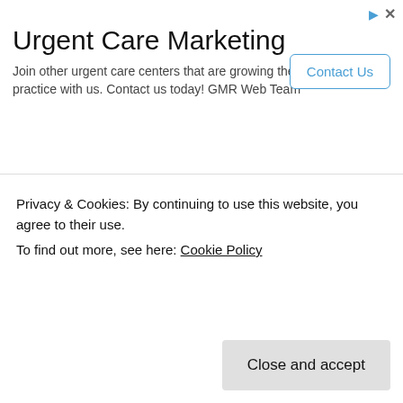Urgent Care Marketing
Join other urgent care centers that are growing their practice with us. Contact us today! GMR Web Team
Toshkhana brought under the administrative control of Department of Culture
LG greets people on Janmashtami
Man detained in suspected ‘terror financing’ case in Jammu
Indian Army organises first-ever Machhal Athletics Meet
Secretary
Privacy & Cookies: By continuing to use this website, you agree to their use.
To find out more, see here: Cookie Policy
Close and accept